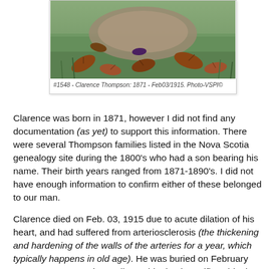[Figure (photo): Partial photo of a gravestone or memorial marker lying in grass with fallen autumn leaves around it]
#1548 - Clarence Thompson: 1871 - Feb03/1915. Photo-VSPI©
Clarence was born in 1871, however I did not find any documentation (as yet) to support this information. There were several Thompson families listed in the Nova Scotia genealogy site during the 1800's who had a son bearing his name. Their birth years ranged from 1871-1890's. I did not have enough information to confirm either of these belonged to our man.
Clarence died on Feb. 03, 1915 due to acute dilation of his heart, and had suffered from arteriosclerosis (the thickening and hardening of the walls of the arteries for a year, which typically happens in old age). He was buried on February 05, 1915 at 10 am (according to his death certificate) in the B.C.